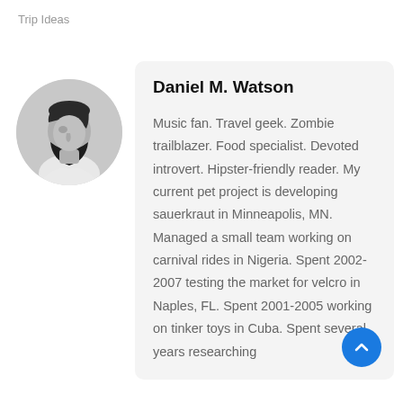Trip Ideas
[Figure (photo): Black and white profile photo of a bearded man looking to the left, circular crop]
Daniel M. Watson
Music fan. Travel geek. Zombie trailblazer. Food specialist. Devoted introvert. Hipster-friendly reader. My current pet project is developing sauerkraut in Minneapolis, MN. Managed a small team working on carnival rides in Nigeria. Spent 2002-2007 testing the market for velcro in Naples, FL. Spent 2001-2005 working on tinker toys in Cuba. Spent several years researching